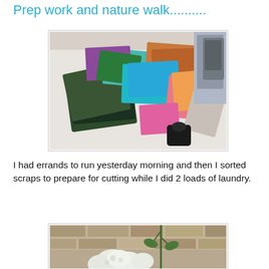Prep work and nature walk..........
[Figure (photo): Overhead view of colorful fabric scraps laid out on a white table, including batik and tie-dye patterned fabrics in green, teal, purple, orange, and pink tones, with a sewing machine visible in the background.]
I had errands to run yesterday morning and then I sorted scraps to prepare for cutting while I did 2 loads of laundry.
[Figure (photo): White hydrangea flowers and a tall green plant in front of a stone wall exterior, partially visible at bottom of page.]